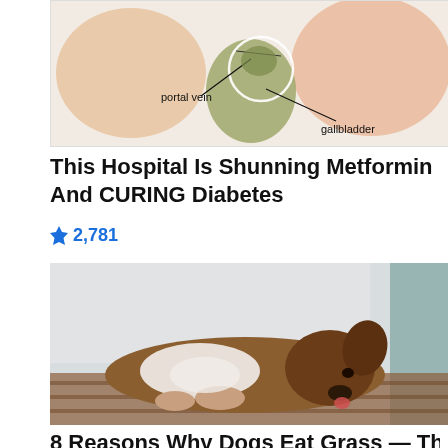[Figure (illustration): Medical anatomy illustration showing gallbladder and portal vein with labels pointing to anatomical structures. The image shows cross-section of organs with 'portal vein' and 'gallbladder' labeled.]
This Hospital Is Shunning Metformin And CURING Diabetes
🔥 2,781
[Figure (photo): Photo of a brown and white border collie or similar dog lying down on what appears to be a wooden surface, looking tired or resting.]
8 Reasons Why Dogs Eat Grass — The